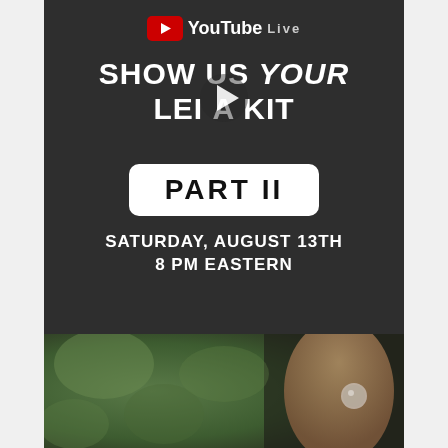[Figure (screenshot): YouTube Live video thumbnail with dark background showing text 'SHOW US YOUR LEICA KIT' with a play button overlay, 'PART II' in a white rounded rectangle, and 'SATURDAY, AUGUST 13TH 8 PM EASTERN' at the bottom. YouTube Live logo at top.]
[Figure (photo): Close-up photo of a person's hand holding a camera lens or similar Leica equipment against a blurred green outdoor background.]